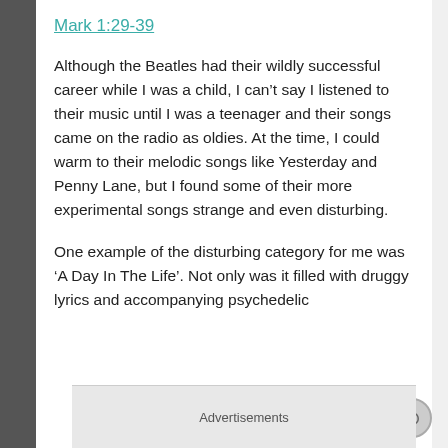Mark 1:29-39
Although the Beatles had their wildly successful career while I was a child, I can't say I listened to their music until I was a teenager and their songs came on the radio as oldies. At the time, I could warm to their melodic songs like Yesterday and Penny Lane, but I found some of their more experimental songs strange and even disturbing.
One example of the disturbing category for me was 'A Day In The Life'. Not only was it filled with druggy lyrics and accompanying psychedelic
Advertisements